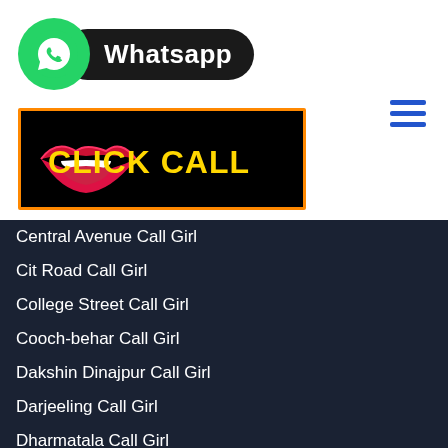[Figure (logo): WhatsApp logo: green circle with phone icon and black pill-shaped badge reading 'Whatsapp' in white bold text]
[Figure (illustration): Black banner with orange border showing red lips illustration on left and bold yellow text 'CLICK CALL' on right]
[Figure (other): Hamburger menu icon with three horizontal blue lines]
Central Avenue Call Girl
Cit Road Call Girl
College Street Call Girl
Cooch-behar Call Girl
Dakshin Dinajpur Call Girl
Darjeeling Call Girl
Dharmatala Call Girl